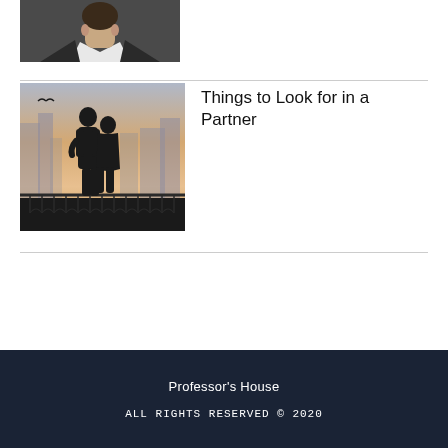[Figure (photo): Partial photo of a man in a suit and white shirt, cropped at the top of the page]
[Figure (photo): Silhouette of a couple standing on a balcony with a railing, city background with hazy warm light]
Things to Look for in a Partner
Professor’s House
ALL RIGHTS RESERVED © 2020